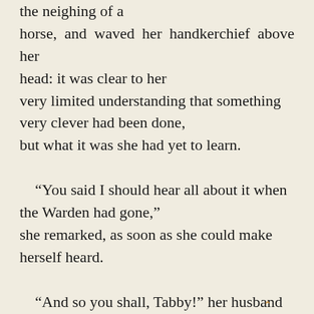the neighing of a horse, and waved her handkerchief above her head: it was clear to her very limited understanding that something very clever had been done, but what it was she had yet to learn.

“You said I should hear all about it when the Warden had gone,” she remarked, as soon as she could make herself heard.

“And so you shall, Tabby!” her husband graciously replied, as he